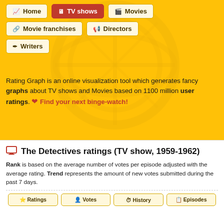[Figure (screenshot): Navigation bar with Home, TV shows (active/red), Movies, Movie franchises, Directors, Writers buttons on yellow background with watermark]
Rating Graph is an online visualization tool which generates fancy graphs about TV shows and Movies based on 1100 million user ratings. ❤ Find your next binge-watch!
The Detectives ratings (TV show, 1959-1962)
Rank is based on the average number of votes per episode adjusted with the average rating. Trend represents the amount of new votes submitted during the past 7 days.
Ratings | Votes | History | Episodes (tabs)